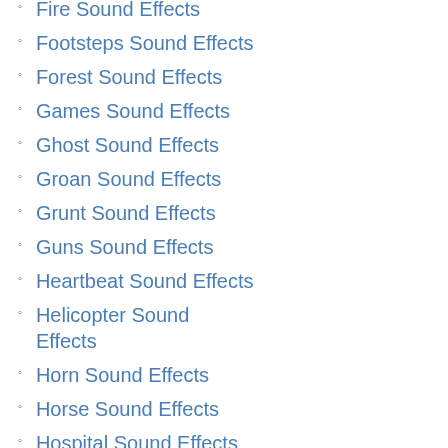Fire Sound Effects
Footsteps Sound Effects
Forest Sound Effects
Games Sound Effects
Ghost Sound Effects
Groan Sound Effects
Grunt Sound Effects
Guns Sound Effects
Heartbeat Sound Effects
Helicopter Sound Effects
Horn Sound Effects
Horse Sound Effects
Hospital Sound Effects
Human Sound Effects
Insects Sound Effects